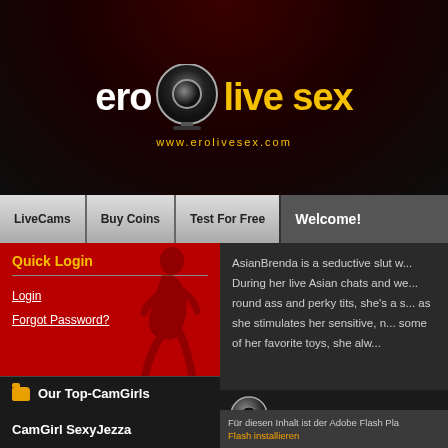[Figure (screenshot): Website header with webcam logo, 'eroLIVE sex' branding, and www.erolivesex.com URL]
LiveCams | Buy Coins | Test For Free
Welcome!
Quick Login
Login
Forgot Password?
AsianBrenda is a seductive slut w... During her live Asian chats and we... round ass and perky tits, she's a s... as she stimulates her sensitive, n... some of her favorite toys, she alw...
[Figure (logo): webcam icon]
Livecam of Asian-C
Our Top-CamGirls
CamGirl SexyJezza
[Figure (photo): Photo of CamGirl SexyJezza]
Für diesen Inhalt ist der Adobe Flash Pla
Flash installieren